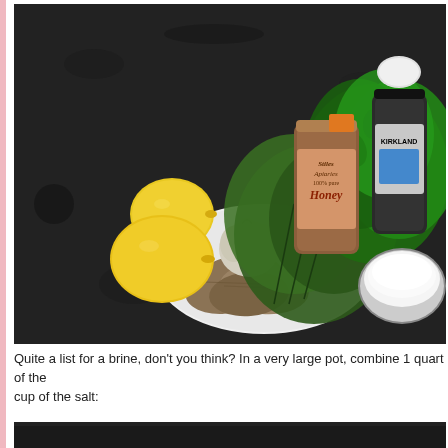[Figure (photo): A photo of brine ingredients laid out on a dark granite countertop: two lemons, a head of garlic, fresh thyme sprigs, fresh parsley, bay leaves on a white plate, a bowl of salt, a jar of honey labeled 'Stiles Apiaries 100% pure Honey', and a Kirkland brand spice jar.]
Quite a list for a brine, don't you think? In a very large pot, combine 1 quart of the... cup of the salt:
[Figure (photo): Bottom portion of another photo, showing a dark background (beginning of next step image).]